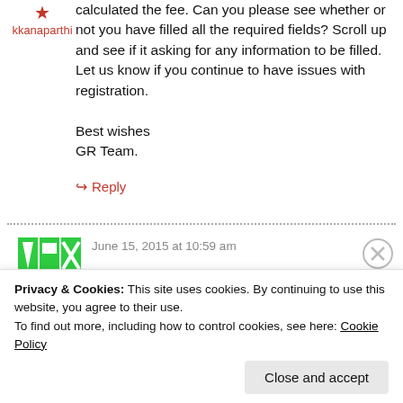calculated the fee. Can you please see whether or not you have filled all the required fields? Scroll up and see if it asking for any information to be filled. Let us know if you continue to have issues with registration.

Best wishes
GR Team.
↳ Reply
June 15, 2015 at 10:59 am
Privacy & Cookies: This site uses cookies. By continuing to use this website, you agree to their use.
To find out more, including how to control cookies, see here: Cookie Policy
Close and accept